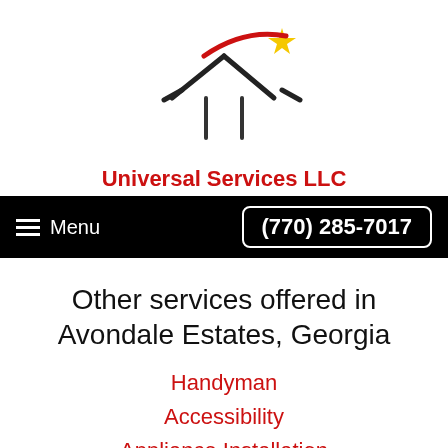[Figure (logo): Universal Services LLC logo: house/roof shape with two vertical bars and a red swoosh with a gold star above]
Universal Services LLC
Menu   (770) 285-7017
Other services offered in Avondale Estates, Georgia
Handyman
Accessibility
Appliance Installation
Blind & Curtain Install
Carpenter
Caulking